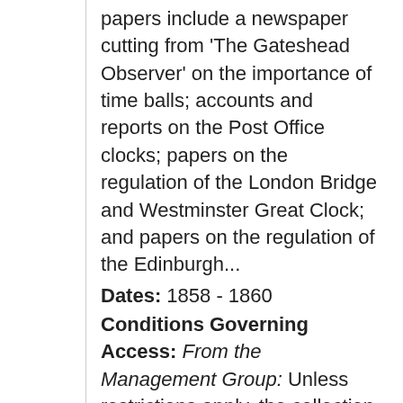papers include a newspaper cutting from 'The Gateshead Observer' on the importance of time balls; accounts and reports on the Post Office clocks; papers on the regulation of the London Bridge and Westminster Great Clock; and papers on the regulation of the Edinburgh...
Dates: 1858 - 1860
Conditions Governing Access: From the Management Group: Unless restrictions apply, the collection is open for consultation by researchers using the Manuscripts Reading Room at Cambridge...